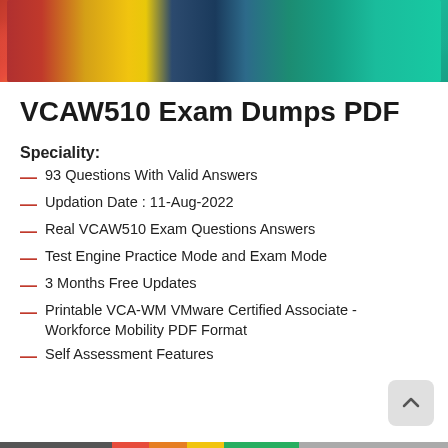[Figure (photo): Banner photo of students or people with colorful backgrounds — red, yellow, teal, dark blue]
VCAW510 Exam Dumps PDF
Speciality:
93 Questions With Valid Answers
Updation Date : 11-Aug-2022
Real VCAW510 Exam Questions Answers
Test Engine Practice Mode and Exam Mode
3 Months Free Updates
Printable VCA-WM VMware Certified Associate - Workforce Mobility PDF Format
Self Assessment Features